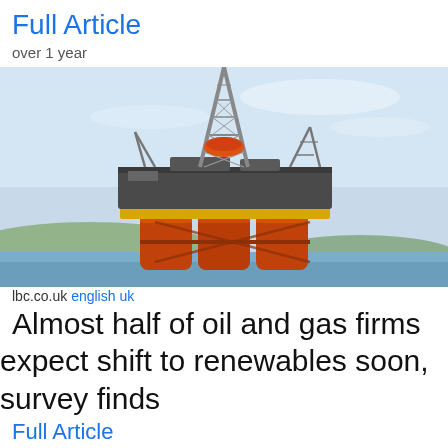Full Article
over 1 year
[Figure (photo): Offshore oil drilling rig / semi-submersible platform with orange cylindrical legs, metal lattice tower, photographed against a pale blue sky with hills in the background]
lbc.co.uk english uk
Almost half of oil and gas firms expect shift to renewables soon, survey finds
Full Article